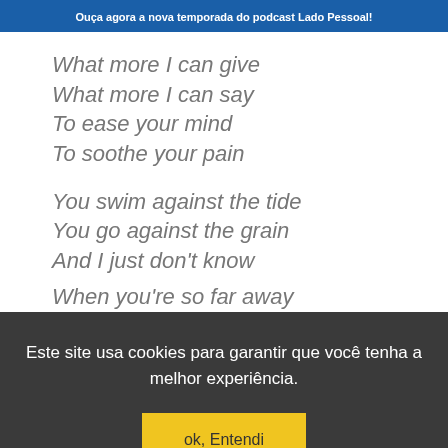Ouça agora a nova temporada do podcast Lado Pessoal!
What more I can give
What more I can say
To ease your mind
To soothe your pain

You swim against the tide
You go against the grain
And I just don't know
When you're so far away
Este site usa cookies para garantir que você tenha a melhor experiência.
ok, Entendi